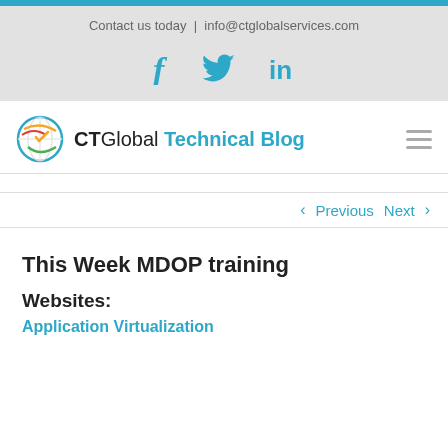Contact us today | info@ctglobalservices.com
[Figure (logo): Social media icons: Facebook (f), Twitter (bird/t), LinkedIn (in) in teal]
[Figure (logo): CT Global Technical Blog logo with globe icon and hamburger menu]
< Previous   Next >
This Week MDOP training
Websites:
Application Virtualization